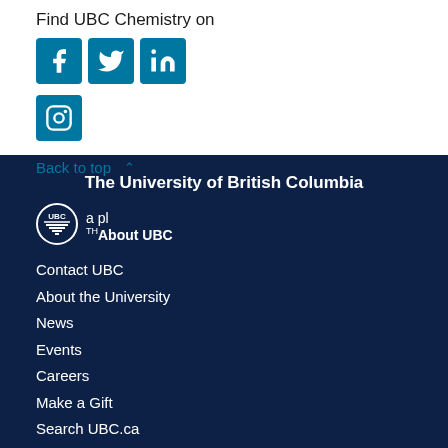Find UBC Chemistry on
[Figure (illustration): Social media icons: Facebook, Twitter, LinkedIn, Instagram — teal/blue square icons]
Back to top ∧
The University of British Columbia
[Figure (logo): UBC circular logo with shield]
TH About UBC
Contact UBC
About the University
News
Events
Careers
Make a Gift
Search UBC.ca
UBC Campuses